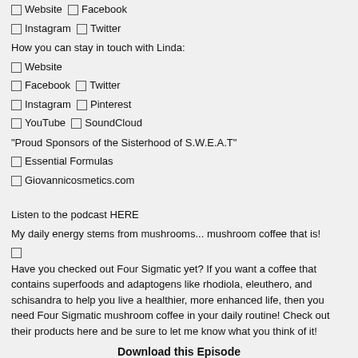☐ Website ☐ Facebook
☐ Instagram ☐ Twitter
How you can stay in touch with Linda:
☐ Website
☐ Facebook ☐ Twitter
☐ Instagram ☐ Pinterest
☐ YouTube ☐ SoundCloud
"Proud Sponsors of the Sisterhood of S.W.E.A.T"
☐ Essential Formulas
☐ Giovannicosmetics.com
Listen to the podcast HERE
My daily energy stems from mushrooms... mushroom coffee that is!
☐ Have you checked out Four Sigmatic yet? If you want a coffee that contains superfoods and adaptogens like rhodiola, eleuthero, and schisandra to help you live a healthier, more enhanced life, then you need Four Sigmatic mushroom coffee in your daily routine! Check out their products here and be sure to let me know what you think of it!
Download this Episode